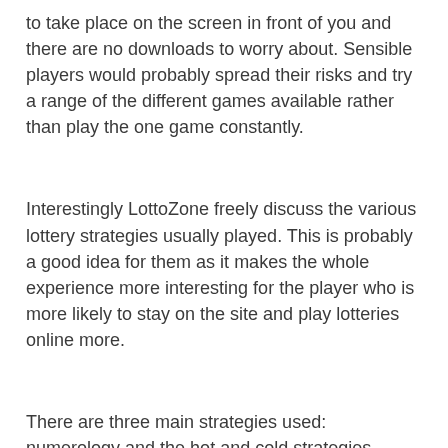to take place on the screen in front of you and there are no downloads to worry about. Sensible players would probably spread their risks and try a range of the different games available rather than play the one game constantly.
Interestingly LottoZone freely discuss the various lottery strategies usually played. This is probably a good idea for them as it makes the whole experience more interesting for the player who is more likely to stay on the site and play lotteries online more.
There are three main strategies used: numerology and the hot and cold strategies. Numerology is the most popular method as it is simply the use of numbers of significance to the player, such as lucky numbers or dates of birth. The hot strategy involves the ‘hot’ numbers, in other words the numbers that are picked most in draws and the cold strategy uses numbers that are not selected very often